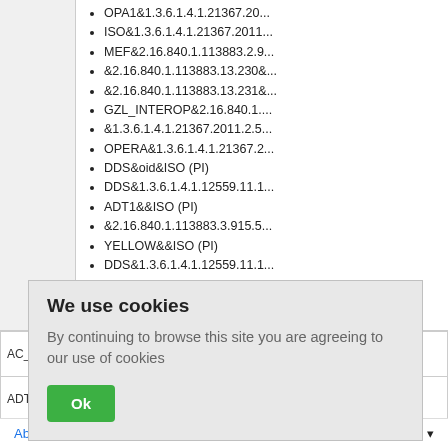OPA1&1.3.6.1.4.1.21367.20...
ISO&1.3.6.1.4.1.21367.2011...
MEF&2.16.840.1.113883.2.9...
&2.16.840.1.113883.13.230&...
&2.16.840.1.113883.13.231&...
GZL_INTEROP&2.16.840.1....
&1.3.6.1.4.1.21367.2011.2.5...
OPERA&1.3.6.1.4.1.21367.2...
DDS&oid&ISO (PI)
DDS&1.3.6.1.4.1.12559.11.1...
ADT1&&ISO (PI)
&2.16.840.1.113883.3.915.5...
YELLOW&&ISO (PI)
DDS&1.3.6.1.4.1.12559.11.1...
| ID |  | Value |
| --- | --- | --- |
| AC_ADT_ |  |  |
| ADTAzure |  | 3.6.1.4.1.21367... |
| ADT-BRY |  | &UNKONWN&U
&1.12559.11.1... |
We use cookies
By continuing to browse this site you are agreeing to our use of cookies
Ok
About    Back to top    E